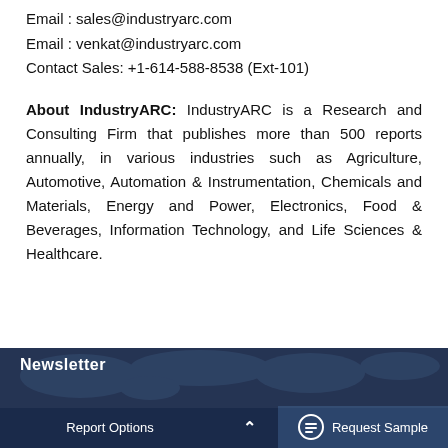Email : sales@industryarc.com
Email : venkat@industryarc.com
Contact Sales: +1-614-588-8538 (Ext-101)
About IndustryARC: IndustryARC is a Research and Consulting Firm that publishes more than 500 reports annually, in various industries such as Agriculture, Automotive, Automation & Instrumentation, Chemicals and Materials, Energy and Power, Electronics, Food & Beverages, Information Technology, and Life Sciences & Healthcare.
Newsletter | Report Options | Request Sample